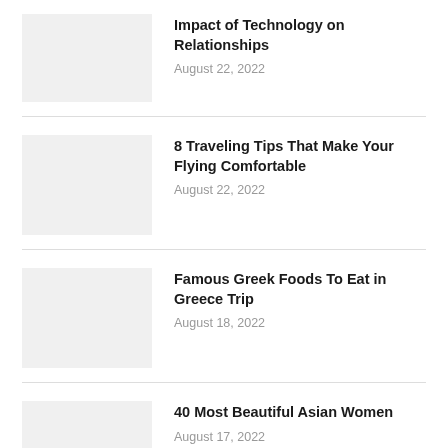[Figure (photo): Placeholder thumbnail image for article 1]
Impact of Technology on Relationships
August 22, 2022
[Figure (photo): Placeholder thumbnail image for article 2]
8 Traveling Tips That Make Your Flying Comfortable
August 22, 2022
[Figure (photo): Placeholder thumbnail image for article 3]
Famous Greek Foods To Eat in Greece Trip
August 18, 2022
[Figure (photo): Placeholder thumbnail image for article 4]
40 Most Beautiful Asian Women
August 17, 2022